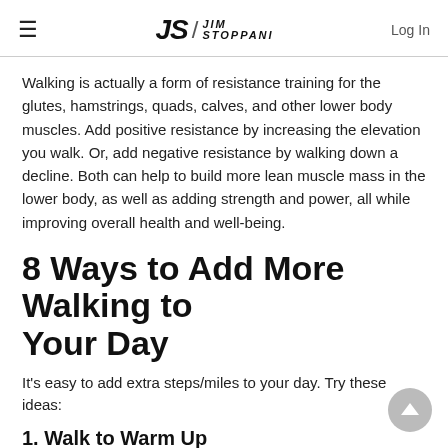JS / JIM STOPPANI  Log In
Walking is actually a form of resistance training for the glutes, hamstrings, quads, calves, and other lower body muscles. Add positive resistance by increasing the elevation you walk. Or, add negative resistance by walking down a decline. Both can help to build more lean muscle mass in the lower body, as well as adding strength and power, all while improving overall health and well-being.
8 Ways to Add More Walking to Your Day
It's easy to add extra steps/miles to your day. Try these ideas:
1. Walk to Warm Up
Take a brisk power walk as part of your general warm-up before a